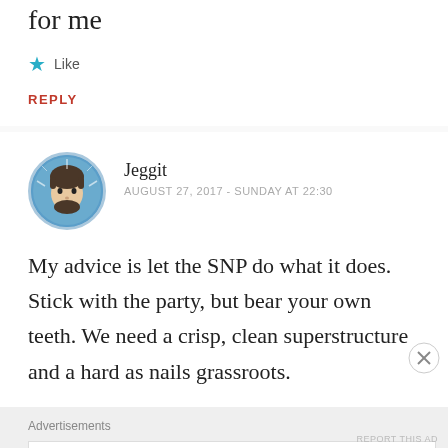for me
★ Like
REPLY
Jeggit
AUGUST 27, 2017 - SUNDAY AT 22:30
My advice is let the SNP do what it does. Stick with the party, but bear your own teeth. We need a crisp, clean superstructure and a hard as nails grassroots.
Advertisements
AUTOMATTIC
Build a better web and a better world.